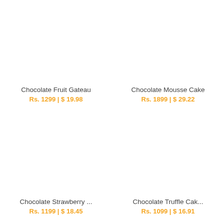Chocolate Fruit Gateau
Rs. 1299 | $ 19.98
Chocolate Mousse Cake
Rs. 1899 | $ 29.22
Chocolate Strawberry ...
Rs. 1199 | $ 18.45
Chocolate Truffle Cak...
Rs. 1099 | $ 16.91